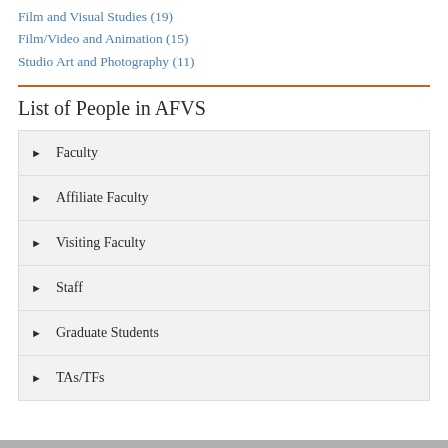Film and Visual Studies (19)
Film/Video and Animation (15)
Studio Art and Photography (11)
List of People in AFVS
Faculty
Affiliate Faculty
Visiting Faculty
Staff
Graduate Students
TAs/TFs